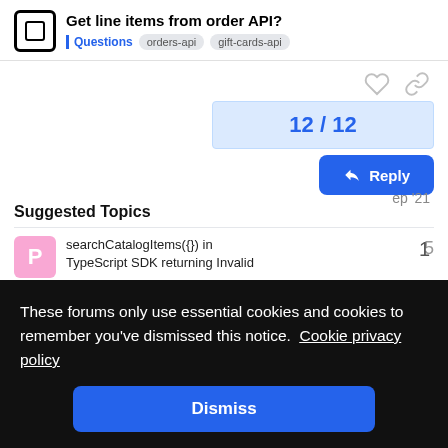Get line items from order API? | Questions | orders-api | gift-cards-api
[Figure (other): Heart (like) and chain-link (share) icons in light grey]
12 / 12
[Figure (other): Reply button (blue rounded rectangle with reply arrow icon)]
Suggested Topics
searchCatalogItems({}) in TypeScript SDK returning Invalid
5
These forums only use essential cookies and cookies to remember you've dismissed this notice. Cookie privacy policy
1
ep '21
[Figure (other): Dismiss button on cookie banner (blue rounded rectangle)]
ep '21
☑ 500 Error using "Search
5